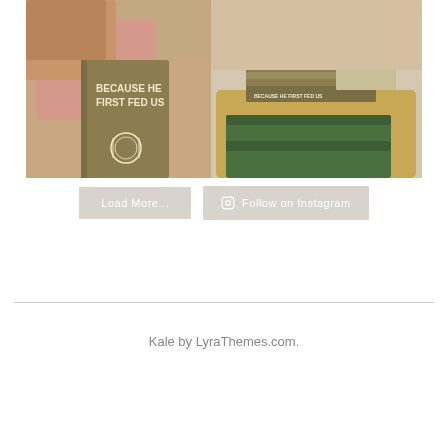[Figure (photo): A photo of books titled 'Because He First Fed Us' on a couch and coffee table setting. The left side shows a single book held by a person in a pink sweater, and the right side shows stacked books on a round wooden table with a green woven base.]
Load More...   Follow on Instagram
Copyright © 2022 Kale
Kale by LyraThemes.com.